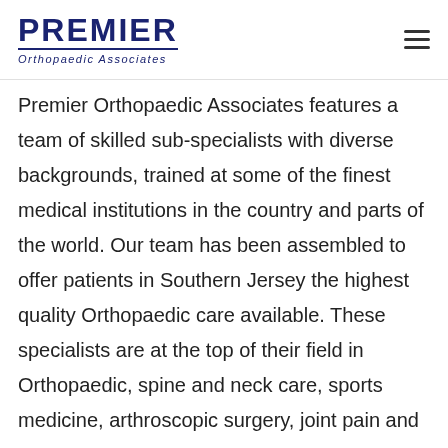PREMIER Orthopaedic Associates
Premier Orthopaedic Associates features a team of skilled sub-specialists with diverse backgrounds, trained at some of the finest medical institutions in the country and parts of the world. Our team has been assembled to offer patients in Southern Jersey the highest quality Orthopaedic care available. These specialists are at the top of their field in Orthopaedic, spine and neck care, sports medicine, arthroscopic surgery, joint pain and